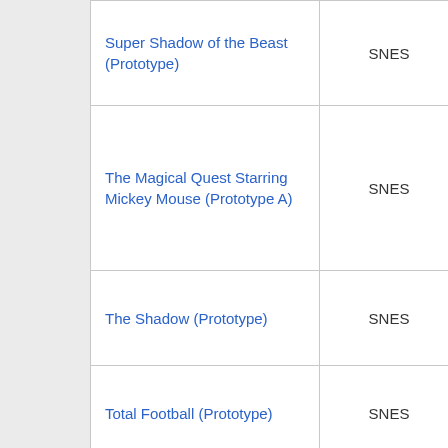| Game | Platform | File |
| --- | --- | --- |
| Super Shadow of the Beast (Prototype) | SNES | PR-SSOTB.LZ |
| The Magical Quest Starring Mickey Mouse (Prototype A) | SNES | CSL-SMM |
| The Shadow (Prototype) | SNES | FU-SHAD.LHA |
| Total Football (Prototype) | SNES | NPM-TTFB.LZ |
| Universal Soldier (Prototype) | SNES | UNVSOLDR.L |
| Vectorman | Sega Mega | SNK-VMAN. |